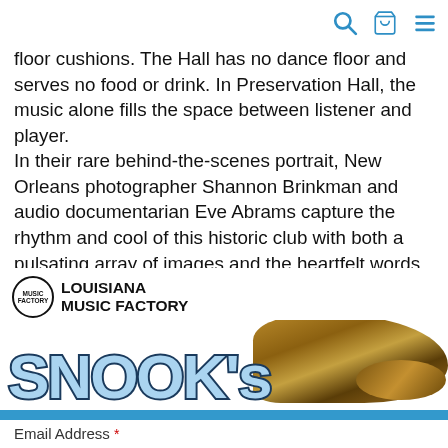[search] [cart] [menu]
floor cushions. The Hall has no dance floor and serves no food or drink. In Preservation Hall, the music alone fills the space between listener and player.
In their rare behind-the-scenes portrait, New Orleans photographer Shannon Brinkman and audio documentarian Eve Abrams capture the rhythm and cool of this historic club with both a pulsating array of images and the heartfelt words of band members.
[Figure (logo): Louisiana Music Factory logo with circle emblem and text, followed by Snook's Scoops banner with stylized bubble text and a sleeping cat image on blue background]
Stay up to date with latest news and concert information, latest sale items available only to newsletter subscribers, and more!
Email Address *